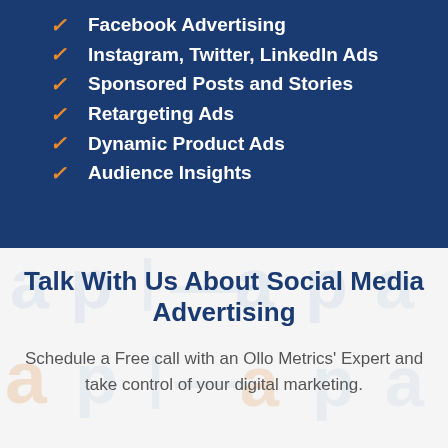Facebook Advertising
Instagram, Twitter, LinkedIn Ads
Sponsored Posts and Stories
Retargeting Ads
Dynamic Product Ads
Audience Insights
Talk With Us About Social Media Advertising
Schedule a Free call with an Ollo Metrics' Expert and take control of your digital marketing.